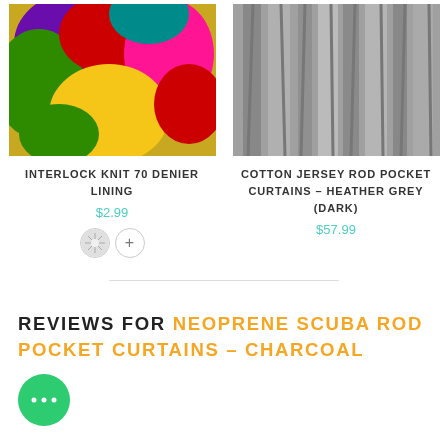[Figure (photo): Colorful interlock knit fabric in multiple colors including purple, green, red, pink, teal, and yellow]
[Figure (photo): Dark heather grey cotton jersey rod pocket curtains hanging]
INTERLOCK KNIT 70 DENIER LINING
$2.99
[Figure (photo): Color swatch circle with multicolor sparkle pattern]
COTTON JERSEY ROD POCKET CURTAINS – HEATHER GREY (DARK)
$57.99
REVIEWS FOR NEOPRENE SCUBA ROD POCKET CURTAINS – CHARCOAL